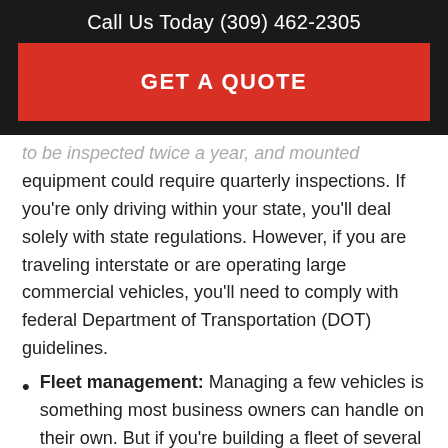Call Us Today (309) 462-2305
GET A QUOTE
to be inspected twice a year, and mounted equipment could require quarterly inspections. If you're only driving within your state, you'll deal solely with state regulations. However, if you are traveling interstate or are operating large commercial vehicles, you'll need to comply with federal Department of Transportation (DOT) guidelines.
Fleet management: Managing a few vehicles is something most business owners can handle on their own. But if you're building a fleet of several dozen vehicles or more, consider working with a